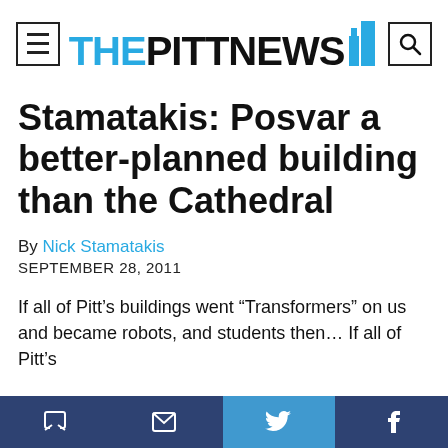THE PITT NEWS
Stamatakis: Posvar a better-planned building than the Cathedral
By Nick Stamatakis
SEPTEMBER 28, 2011
If all of Pitt's buildings went “Transformers” on us and became robots, and students then… If all of Pitt’s